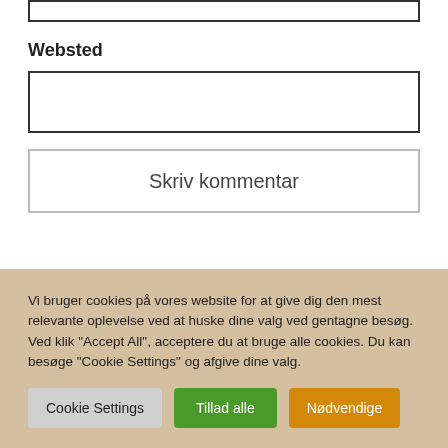[input box top]
Websted
[input box websted]
Skriv kommentar
Vi bruger cookies på vores website for at give dig den mest relevante oplevelse ved at huske dine valg ved gentagne besøg. Ved klik "Accept All", acceptere du at bruge alle cookies. Du kan besøge "Cookie Settings" og afgive dine valg.
Cookie Settings | Tillad alle | Nødvendige